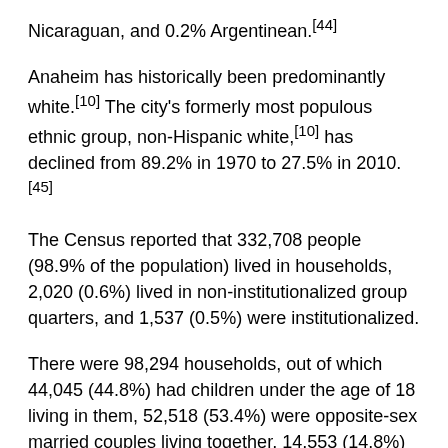Nicaraguan, and 0.2% Argentinean.[44]
Anaheim has historically been predominantly white.[10] The city's formerly most populous ethnic group, non-Hispanic white,[10] has declined from 89.2% in 1970 to 27.5% in 2010.[45]
The Census reported that 332,708 people (98.9% of the population) lived in households, 2,020 (0.6%) lived in non-institutionalized group quarters, and 1,537 (0.5%) were institutionalized.
There were 98,294 households, out of which 44,045 (44.8%) had children under the age of 18 living in them, 52,518 (53.4%) were opposite-sex married couples living together, 14,553 (14.8%) had a female householder with no husband present, 7,223 (7.3%) had a male householder with no wife present. They were...